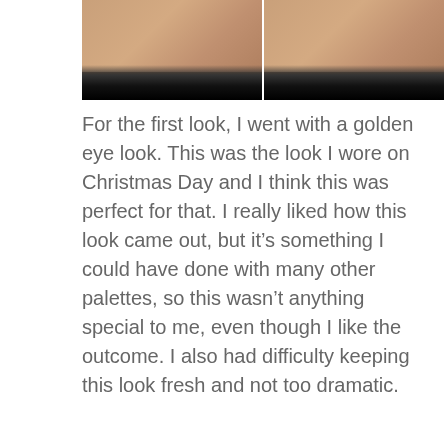[Figure (photo): Two side-by-side facial photos showing makeup looks. Both show a person from chin/neck up with skin-toned complexion and dark clothing/collar visible at the bottom.]
For the first look, I went with a golden eye look. This was the look I wore on Christmas Day and I think this was perfect for that. I really liked how this look came out, but it's something I could have done with many other palettes, so this wasn't anything special to me, even though I like the outcome. I also had difficulty keeping this look fresh and not too dramatic.